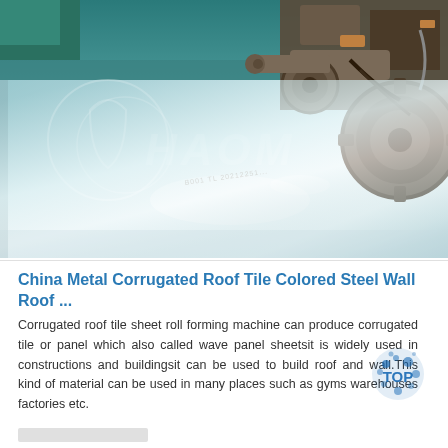[Figure (photo): Industrial factory photo showing a large grey metal steel sheet on a production floor with roll forming machinery visible in the upper right. A watermark logo and text 'HAOM' overlaid in white. A stamp mark visible on the sheet surface.]
China Metal Corrugated Roof Tile Colored Steel Wall Roof ...
Corrugated roof tile sheet roll forming machine can produce corrugated tile or panel which also called wave panel sheetsit is widely used in constructions and buildingsit can be used to build roof and wall.This kind of material can be used in many places such as gyms warehouses factories etc.